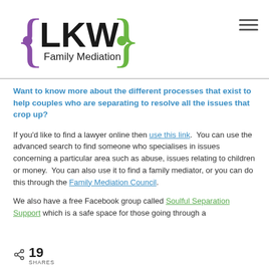[Figure (logo): LKW Family Mediation logo with purple left curly brace and green right curly brace surrounding large bold LKW text and 'Family Mediation' below]
Want to know more about the different processes that exist to help couples who are separating to resolve all the issues that crop up?
If you'd like to find a lawyer online then use this link.  You can use the advanced search to find someone who specialises in issues concerning a particular area such as abuse, issues relating to children or money.  You can also use it to find a family mediator, or you can do this through the Family Mediation Council.
We also have a free Facebook group called Soulful Separation Support which is a safe space for those going through a
19 SHARES